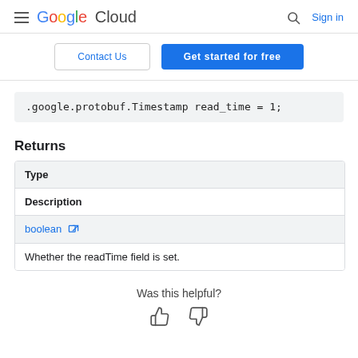Google Cloud — Sign in
Contact Us | Get started for free
.google.protobuf.Timestamp read_time = 1;
Returns
| Type | Description |
| --- | --- |
| boolean ↗ | Whether the readTime field is set. |
Was this helpful?